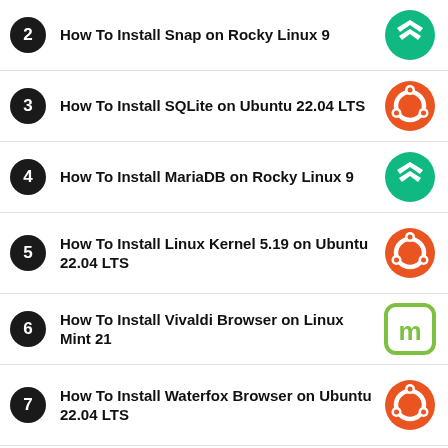2 How To Install Snap on Rocky Linux 9
3 How To Install SQLite on Ubuntu 22.04 LTS
4 How To Install MariaDB on Rocky Linux 9
5 How To Install Linux Kernel 5.19 on Ubuntu 22.04 LTS
6 How To Install Vivaldi Browser on Linux Mint 21
7 How To Install Waterfox Browser on Ubuntu 22.04 LTS